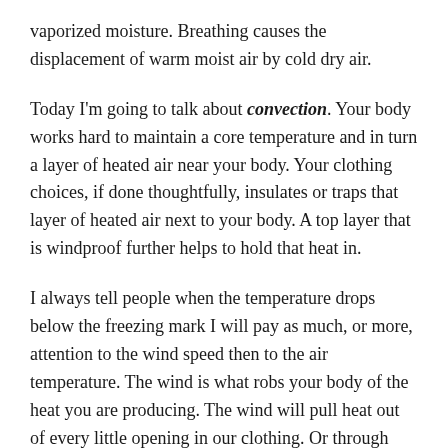vaporized moisture. Breathing causes the displacement of warm moist air by cold dry air.
Today I'm going to talk about convection. Your body works hard to maintain a core temperature and in turn a layer of heated air near your body. Your clothing choices, if done thoughtfully, insulates or traps that layer of heated air next to your body. A top layer that is windproof further helps to hold that heat in.
I always tell people when the temperature drops below the freezing mark I will pay as much, or more, attention to the wind speed then to the air temperature. The wind is what robs your body of the heat you are producing. The wind will pull heat out of every little opening in our clothing. Or through your clothing if it's not windproof. Your body responds by working harder to maintain the